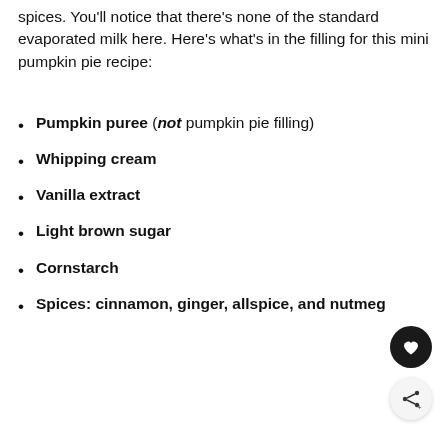spices. You'll notice that there's none of the standard evaporated milk here. Here's what's in the filling for this mini pumpkin pie recipe:
Pumpkin puree (not pumpkin pie filling)
Whipping cream
Vanilla extract
Light brown sugar
Cornstarch
Spices: cinnamon, ginger, allspice, and nutmeg